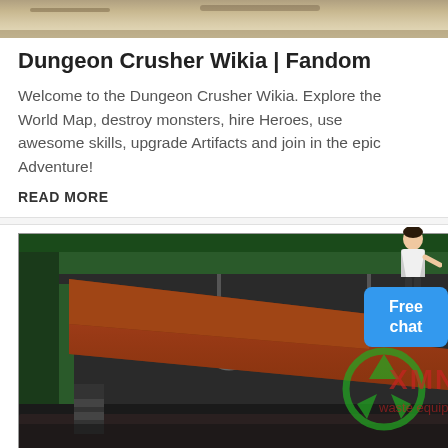[Figure (photo): Top partial image showing outdoor scene with light-colored ground, partially cropped at top of page]
Dungeon Crusher Wikia | Fandom
Welcome to the Dungeon Crusher Wikia. Explore the World Map, destroy monsters, hire Heroes, use awesome skills, upgrade Artifacts and join in the epic Adventure!
READ MORE
[Figure (photo): Industrial machinery photo showing heavy metal crushing/screening equipment with orange and dark green metal structures, suspended by chains, with XMN waste equipment watermark logo overlay]